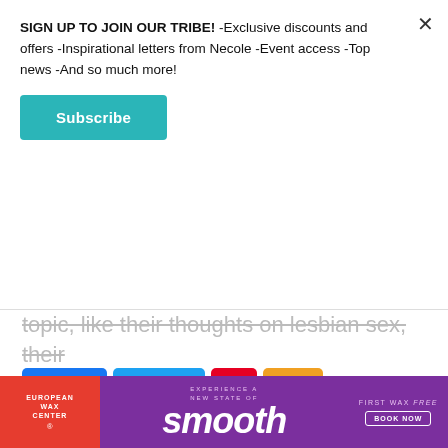SIGN UP TO JOIN OUR TRIBE! -Exclusive discounts and offers -Inspirational letters from Necole -Event access -Top news -And so much more!
Subscribe
topic, like their thoughts on lesbian sex, their attempt at Megan's signature tongue pose, and their thoughts on the plight of Black women.
KEEP READING...
[Figure (screenshot): Social sharing buttons: Facebook Share, Twitter, Pinterest (icon), SMS (icon)]
[Figure (infographic): Advertisement banner for European Wax Center: purple background with red left panel, white smooth text, 'Experience a new state of smooth', 'First Wax free, Book Now']